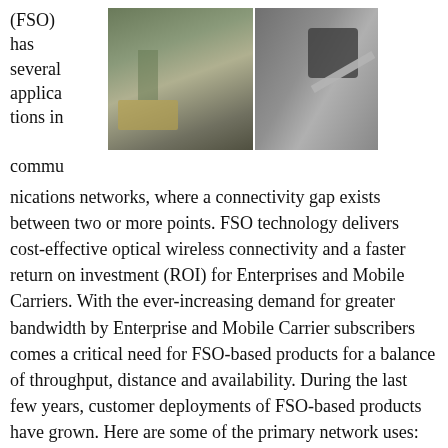(FSO) has several applications in communications networks, where a connectivity gap exists between two or more points. FSO technology delivers cost-effective optical wireless connectivity and a faster return on investment (ROI) for Enterprises and Mobile Carriers. With the ever-increasing demand for greater bandwidth by Enterprise and Mobile Carrier subscribers comes a critical need for FSO-based products for a balance of throughput, distance and availability. During the last few years, customer deployments of FSO-based products have grown. Here are some of the primary network uses:
[Figure (photo): Two photos side by side: left shows an aerial/overhead view of a street with vehicles (traffic scene), right shows an FSO optical wireless device mounted on a building exterior]